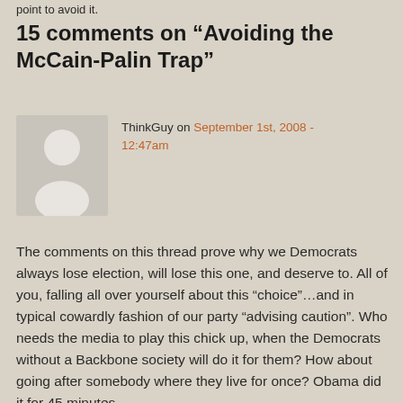point to avoid it.
15 comments on “Avoiding the McCain-Palin Trap”
[Figure (illustration): Gray avatar placeholder image showing a generic person silhouette with head and shoulders on a light gray background]
ThinkGuy on September 1st, 2008 - 12:47am
The comments on this thread prove why we Democrats always lose election, will lose this one, and deserve to. All of you, falling all over yourself about this “choice”…and in typical cowardly fashion of our party “advising caution”. Who needs the media to play this chick up, when the Democrats without a Backbone society will do it for them? How about going after somebody where they live for once? Obama did it for 45 minutes.